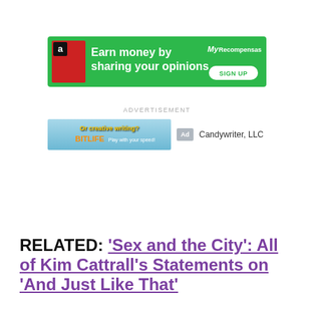[Figure (infographic): Green advertisement banner: 'Earn money by sharing your opinions' with MyRecompensas logo and SIGN UP button]
ADVERTISEMENT
[Figure (infographic): BitLife game advertisement banner with Ad tag and Candywriter, LLC label]
RELATED: 'Sex and the City': All of Kim Cattrall's Statements on 'And Just Like That'